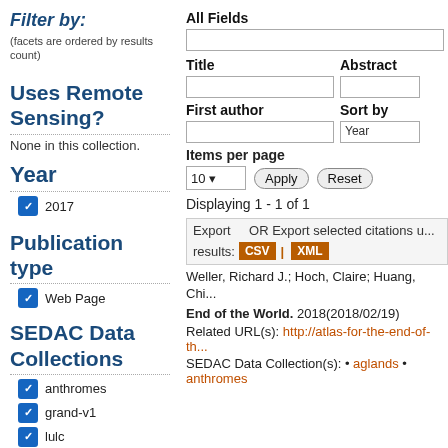Filter by: (facets are ordered by results count)
All Fields
Title
Abstract
First author
Sort by
Uses Remote Sensing?
None in this collection.
Year
2017
Items per page
Displaying 1 - 1 of 1
Export  OR Export selected citations u... results: CSV XML
Publication type
Web Page
SEDAC Data Collections
Weller, Richard J.; Hoch, Claire; Huang, Chi...
End of the World. 2018(2018/02/19)
Related URL(s): http://atlas-for-the-end-of-th...
SEDAC Data Collection(s): • aglands • anthromes
anthromes
grand-v1
lulc